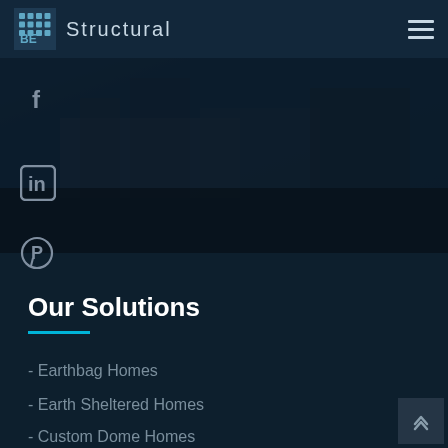BE Structural
[Figure (screenshot): Dark background image of a building/construction site with dark overlay]
[Figure (illustration): Facebook social media icon]
[Figure (illustration): LinkedIn social media icon]
[Figure (illustration): Pinterest social media icon]
Our Solutions
- Earthbag Homes
- Earth Sheltered Homes
- Custom Dome Homes